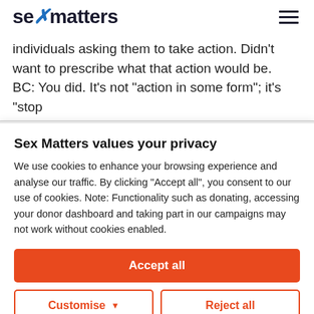sex matters
individuals asking them to take action. Didn’t want to prescribe what that action would be.
BC: You did. It’s not “action in some form”; it’s “stop
Sex Matters values your privacy
We use cookies to enhance your browsing experience and analyse our traffic. By clicking "Accept all", you consent to our use of cookies. Note: Functionality such as donating, accessing your donor dashboard and taking part in our campaigns may not work without cookies enabled.
Accept all
Customise
Reject all